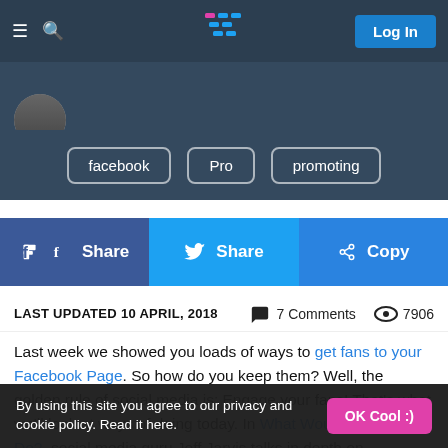Navigation bar with hamburger menu, search icon, logo, and Log In button
[Figure (screenshot): Profile section with avatar image, partially visible text, and category tags: facebook, Pro, promoting]
[Figure (infographic): Social share bar with Facebook Share, Twitter Share, and Copy buttons]
LAST UPDATED 10 APRIL, 2018    7 Comments    7906
Last week we showed you loads of ways to get fans to your Facebook Page. So how do you keep them? Well, the golden rule of social media is: Engage your fans! That's what we'll look at ways of doing today. In What Would Google Do?, social media guru Jeff Jarvis talks in depth on engagement and why
By using this site you agree to our privacy and cookie policy. Read it here.